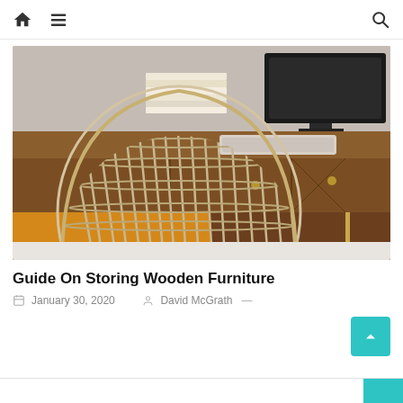Navigation bar with home icon, menu icon, and search icon
[Figure (photo): A wooden desk with drawers and brass hardware, a rattan/woven chair in the foreground, books stacked on the desk, a keyboard and monitor on the desk surface]
Guide On Storing Wooden Furniture
January 30, 2020   David McGrath —